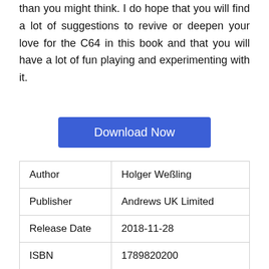than you might think. I do hope that you will find a lot of suggestions to revive or deepen your love for the C64 in this book and that you will have a lot of fun playing and experimenting with it.
[Figure (other): Blue Download Now button]
| Author | Holger Weßling |
| Publisher | Andrews UK Limited |
| Release Date | 2018-11-28 |
| ISBN | 1789820200 |
| Pages | 210 pages |
| Rating | 4.5/5 (01 users) |